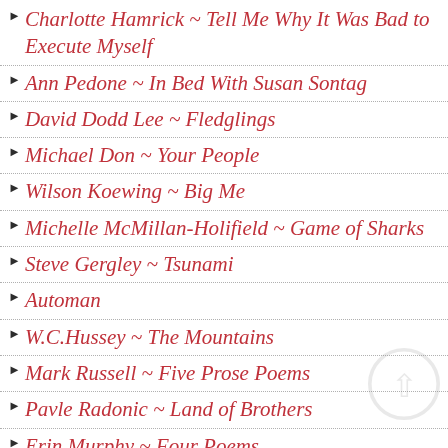Charlotte Hamrick ~ Tell Me Why It Was Bad to Execute Myself
Ann Pedone ~ In Bed With Susan Sontag
David Dodd Lee ~ Fledglings
Michael Don ~ Your People
Wilson Koewing ~ Big Me
Michelle McMillan-Holifield ~ Game of Sharks
Steve Gergley ~ Tsunami
Automan
W.C.Hussey ~ The Mountains
Mark Russell ~ Five Prose Poems
Pavle Radonic ~ Land of Brothers
Erin Murphy ~ Four Poems